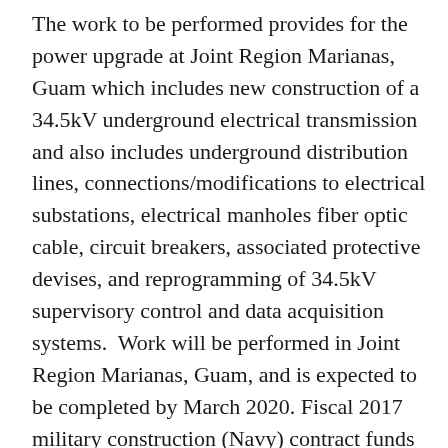The work to be performed provides for the power upgrade at Joint Region Marianas, Guam which includes new construction of a 34.5kV underground electrical transmission and also includes underground distribution lines, connections/modifications to electrical substations, electrical manholes fiber optic cable, circuit breakers, associated protective devises, and reprogramming of 34.5kV supervisory control and data acquisition systems.  Work will be performed in Joint Region Marianas, Guam, and is expected to be completed by March 2020. Fiscal 2017 military construction (Navy) contract funds in the amount of $28,500,000 are obligated on this award and will not expire at